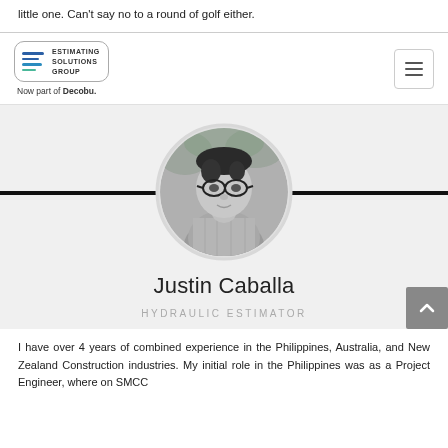little one. Can't say no to a round of golf either.
[Figure (logo): Estimating Solutions Group logo, now part of Decobu.]
[Figure (photo): Circular black and white headshot photo of Justin Caballa, a young man wearing glasses and a plaid shirt.]
Justin Caballa
HYDRAULIC ESTIMATOR
I have over 4 years of combined experience in the Philippines, Australia, and New Zealand Construction industries. My initial role in the Philippines was as a Project Engineer, where on SMCC